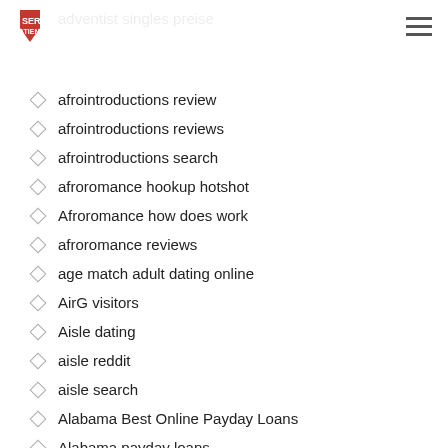Servi Atiende
adventist singles preise
afrointroductions review
afrointroductions reviews
afrointroductions search
afroromance hookup hotshot
Afroromance how does work
afroromance reviews
age match adult dating online
AirG visitors
Aisle dating
aisle reddit
aisle search
Alabama Best Online Payday Loans
Alabama payday loans
Alabama Payday Loans Online Same Day
Alaska payday loans
Alaska Payday Loans Near Me
Alg